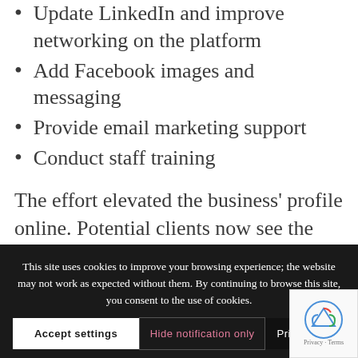Update LinkedIn and improve networking on the platform
Add Facebook images and messaging
Provide email marketing support
Conduct staff training
The effort elevated the business' profile online. Potential clients now see the company as a resource for their retirement planning needs. Information is clear and consistent, prompting more calls for clients.
This site uses cookies to improve your browsing experience; the website may not work as expected without them. By continuing to browse this site, you consent to the use of cookies.